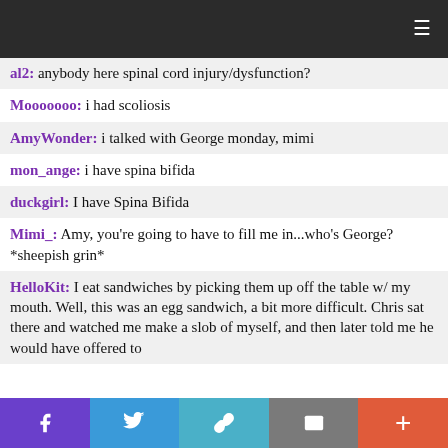Navigation bar with hamburger menu
al2: anybody here spinal cord injury/dysfunction?
Mooooooo: i had scoliosis
AmyWonder: i talked with George monday, mimi
mon_ange: i have spina bifida
duckgirl: I have Spina Bifida
Mimi_: Amy, you're going to have to fill me in...who's George? *sheepish grin*
HelloKit: I eat sandwiches by picking them up off the table w/ my mouth. Well, this was an egg sandwich, a bit more difficult. Chris sat there and watched me make a slob of myself, and then later told me he would have offered to
Share bar: Facebook, Twitter, Link, Mail, Plus